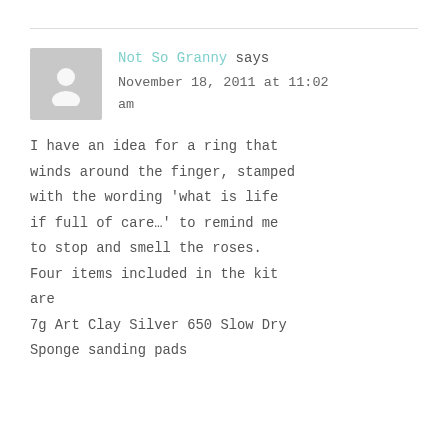[Figure (illustration): Grey avatar placeholder icon of a person silhouette]
Not So Granny says
November 18, 2011 at 11:02 am
I have an idea for a ring that winds around the finger, stamped with the wording 'what is life if full of care…' to remind me to stop and smell the roses. Four items included in the kit are
7g Art Clay Silver 650 Slow Dry
Sponge sanding pads